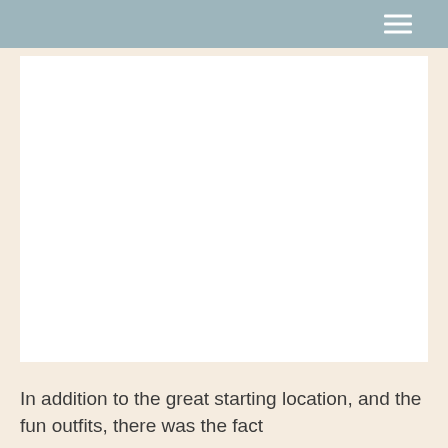[Figure (photo): Large white rectangular image placeholder area]
In addition to the great starting location, and the fun outfits, there was the fact